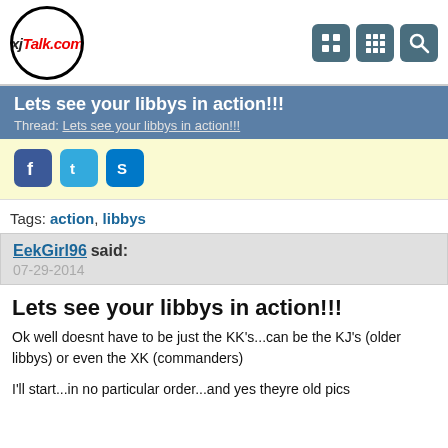xjTalk.com
Lets see your libbys in action!!!
Thread: Lets see your libbys in action!!!
[Figure (logo): Social media icons: Facebook, Twitter, Skype]
Tags: action, libbys
EekGirl96 said:
07-29-2014
Lets see your libbys in action!!!
Ok well doesnt have to be just the KK's...can be the KJ's (older libbys) or even the XK (commanders)
I'll start...in no particular order...and yes theyre old pics